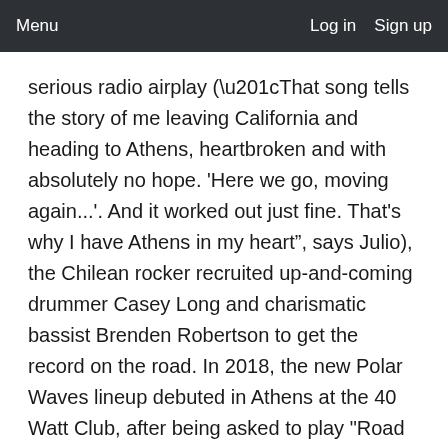Menu   Log in   Sign up
serious radio airplay (“That song tells the story of me leaving California and heading to Athens, heartbroken and with absolutely no hope. 'Here we go, moving again...'. And it worked out just fine. That's why I have Athens in my heart”, says Julio), the Chilean rocker recruited up-and-coming drummer Casey Long and charismatic bassist Brenden Robertson to get the record on the road. In 2018, the new Polar Waves lineup debuted in Athens at the 40 Watt Club, after being asked to play "Road To Roo". After that, they continued to play locally (Caledonia Lounge, Nowhere Bar, Live Wire, Terrapin Beer Co.), regionally in Savannah (opening for Lullwater in March and Bonfire in July at the famous The Jinx), Tybee Island